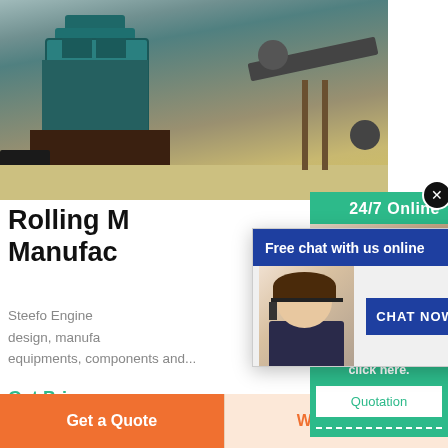[Figure (photo): Industrial cone crusher / rolling mill machinery at a quarry or mining site with conveyor belts in the background]
Rolling M... Manufac...
Steefo Enginee... design, manufa... equipments, components and...
Get Price
[Figure (screenshot): Live chat popup overlay with blue header 'Free chat with us online', agent photo with headset, and CHAT NOW button]
[Figure (screenshot): Side panel showing 24/7 Online support with agent photo, 'Have any requests, click here.' text, and Quotation button]
Get a Quote
WhatsApp